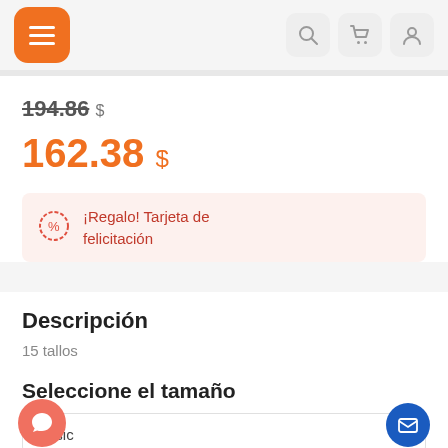[Figure (screenshot): Mobile app header with orange hamburger menu button on the left and search, cart, and user icon buttons on the right]
194.86 $
162.38 $
¡Regalo! Tarjeta de felicitación
Descripción
15 tallos
Seleccione el tamaño
Basic